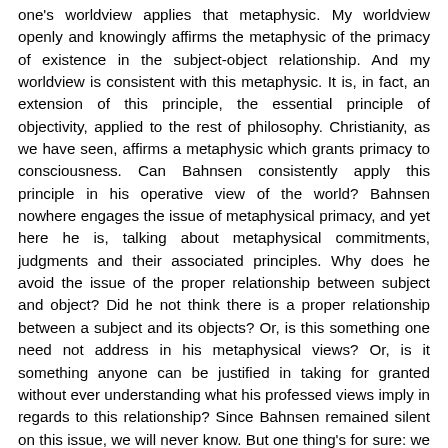one's worldview applies that metaphysic. My worldview openly and knowingly affirms the metaphysic of the primacy of existence in the subject-object relationship. And my worldview is consistent with this metaphysic. It is, in fact, an extension of this principle, the essential principle of objectivity, applied to the rest of philosophy. Christianity, as we have seen, affirms a metaphysic which grants primacy to consciousness. Can Bahnsen consistently apply this principle in his operative view of the world? Bahnsen nowhere engages the issue of metaphysical primacy, and yet here he is, talking about metaphysical commitments, judgments and their associated principles. Why does he avoid the issue of the proper relationship between subject and object? Did he not think there is a proper relationship between a subject and its objects? Or, is this something one need not address in his metaphysical views? Or, is it something anyone can be justified in taking for granted without ever understanding what his professed views imply in regards to this relationship? Since Bahnsen remained silent on this issue, we will never know. But one thing's for sure: we won't learn about the proper relationship between a subject and its objects from Bahnsen.